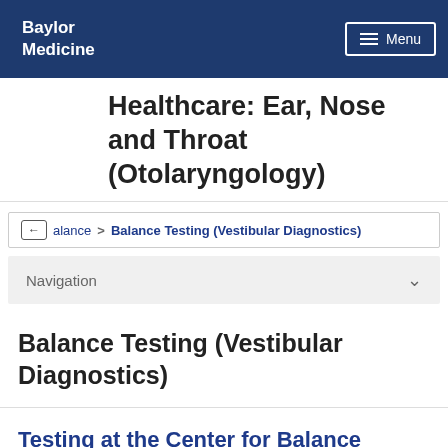Baylor Medicine
Healthcare: Ear, Nose and Throat (Otolaryngology)
Balance > Balance Testing (Vestibular Diagnostics)
Navigation
Balance Testing (Vestibular Diagnostics)
Testing at the Center for Balance Disorders